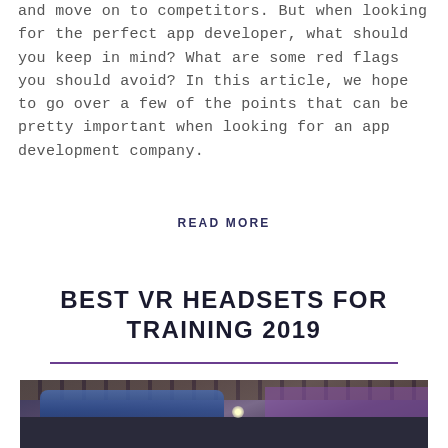and move on to competitors. But when looking for the perfect app developer, what should you keep in mind? What are some red flags you should avoid? In this article, we hope to go over a few of the points that can be pretty important when looking for an app development company.
READ MORE
BEST VR HEADSETS FOR TRAINING 2019
[Figure (photo): A person wearing a blue VR headset or costume at what appears to be an indoor event or exhibition, with a purple illuminated background and ceiling visible.]